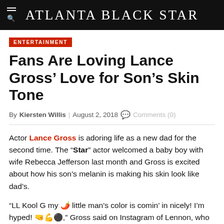Atlanta Black Star
ENTERTAINMENT
Fans Are Loving Lance Gross’ Love for Son’s Skin Tone
By Kiersten Willis | August 2, 2018 💬 Comments (0)
Actor Lance Gross is adoring life as a new dad for the second time. The “Star” actor welcomed a baby boy with wife Rebecca Jefferson last month and Gross is excited about how his son’s melanin is making his skin look like dad’s.
“LL Kool G my 🌶 little man’s color is comin’ in nicely! I’m hyped! 🤜💪⚫,” Gross said on Instagram of Lennon, who will be 1-month-old on August 10.